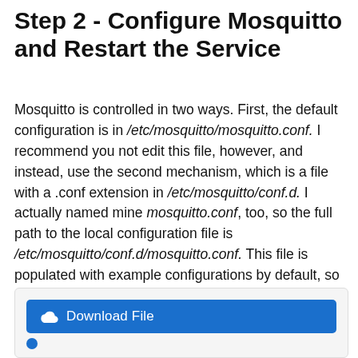Step 2 - Configure Mosquitto and Restart the Service
Mosquitto is controlled in two ways. First, the default configuration is in /etc/mosquitto/mosquitto.conf. I recommend you not edit this file, however, and instead, use the second mechanism, which is a file with a .conf extension in /etc/mosquitto/conf.d. I actually named mine mosquitto.conf, too, so the full path to the local configuration file is /etc/mosquitto/conf.d/mosquitto.conf. This file is populated with example configurations by default, so you'll want to edit it for your local use. Here is the local configuration file I recommend:
[Figure (other): A blue Download File button with a cloud icon, inside a light gray rounded box]